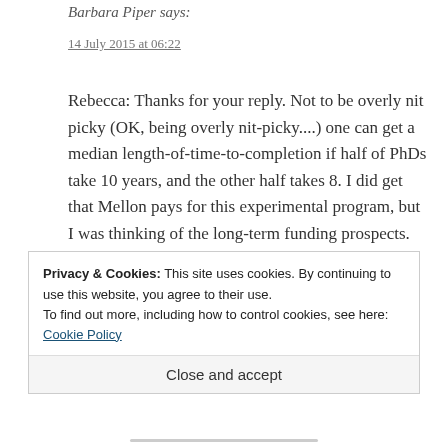Barbara Piper says:
14 July 2015 at 06:22
Rebecca: Thanks for your reply. Not to be overly nit picky (OK, being overly nit-picky....) one can get a median length-of-time-to-completion if half of PhDs take 10 years, and the other half takes 8. I did get that Mellon pays for this experimental program, but I was thinking of the long-term funding prospects. We enjoy having a post-doc around, but my bet is that
Privacy & Cookies: This site uses cookies. By continuing to use this website, you agree to their use.
To find out more, including how to control cookies, see here: Cookie Policy
Close and accept